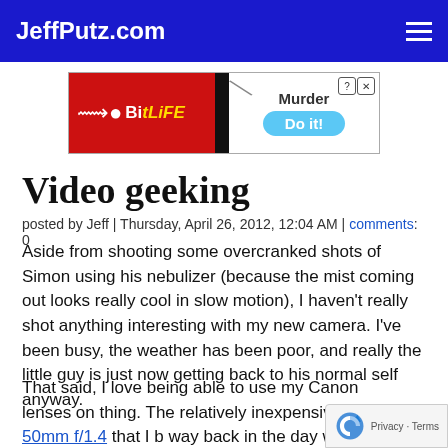JeffPutz.com
[Figure (screenshot): BitLife advertisement banner - red background with BitLife logo on left, black divider, white right section with diagonal slash, 'Murder' text, close buttons, and 'Do it!' blue pill button]
Video geeking
posted by Jeff | Thursday, April 26, 2012, 12:04 AM | comments: 0
Aside from shooting some overcranked shots of Simon using his nebulizer (because the mist coming out looks really cool in slow motion), I haven't really shot anything interesting with my new camera. I've been busy, the weather has been poor, and really the little guy is just now getting back to his normal self anyway.
That said, I love being able to use my Canon lenses on the thing. The relatively inexpensive 50mm f/1.4 that I bought way back in the day with my 5D produces really beautiful